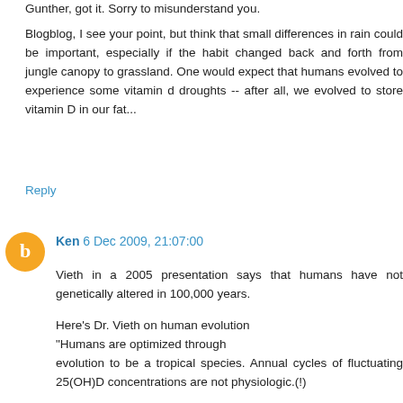Gunther, got it. Sorry to misunderstand you.
Blogblog, I see your point, but think that small differences in rain could be important, especially if the habit changed back and forth from jungle canopy to grassland. One would expect that humans evolved to experience some vitamin d droughts -- after all, we evolved to store vitamin D in our fat...
Reply
Ken 6 Dec 2009, 21:07:00
Vieth in a 2005 presentation says that humans have not genetically altered in 100,000 years.
Here's Dr. Vieth on human evolution
"Humans are optimized through evolution to be a tropical species. Annual cycles of fluctuating 25(OH)D concentrations are not physiologic.(!)
Natural selection has certainly not stood still for the hundreds of generations that modern humans have been in